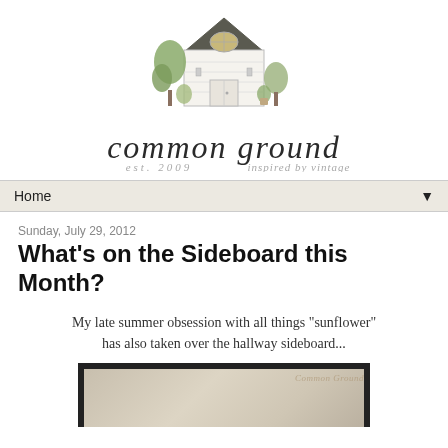[Figure (logo): Common Ground blog logo: watercolor illustration of a white house/barn with trees and plants, script text 'common ground', subtitle 'est. 2009 inspired by vintage']
Home ▼
Sunday, July 29, 2012
What's on the Sideboard this Month?
My late summer obsession with all things "sunflower" has also taken over the hallway sideboard...
[Figure (photo): Partial photo of a dark sideboard with decorative items, watermark reads 'Common Ground']